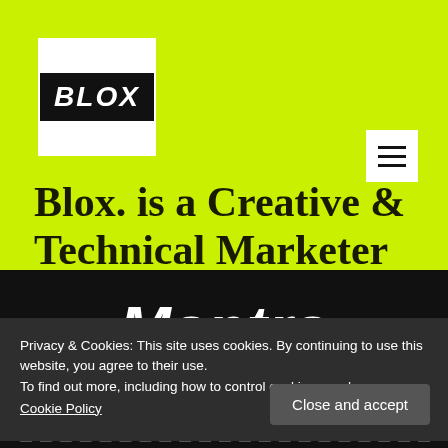[Figure (logo): BLOX logo: white square background with black rectangle containing white bold italic text 'BLOX']
[Figure (other): Hamburger menu icon (three horizontal lines) on white square background]
Blox. is a Creative & Technical Marketer
Mantra
Privacy & Cookies: This site uses cookies. By continuing to use this website, you agree to their use.
To find out more, including how to control cookies, see here:
Cookie Policy
Close and accept